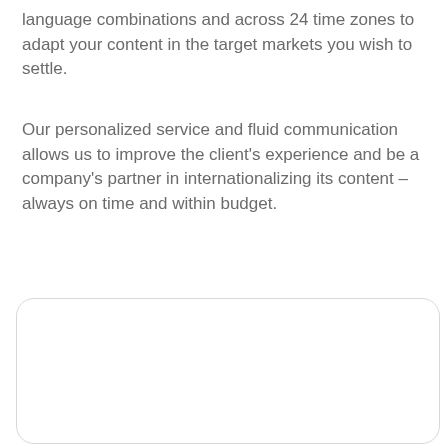language combinations and across 24 time zones to adapt your content in the target markets you wish to settle.
Our personalized service and fluid communication allows us to improve the client's experience and be a company's partner in internationalizing its content – always on time and within budget.
[Figure (other): A rounded rectangle box (white with light gray border) occupying the lower portion of the page, contents not visible.]